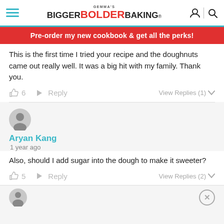Gemma's Bigger Bolder Baking
Pre-order my new cookbook & get all the perks!
This is the first time I tried your recipe and the doughnuts came out really well. It was a big hit with my family. Thank you.
6  Reply  View Replies (1)
Aryan Kang
1 year ago
Also, should I add sugar into the dough to make it sweeter?
5  Reply  View Replies (2)